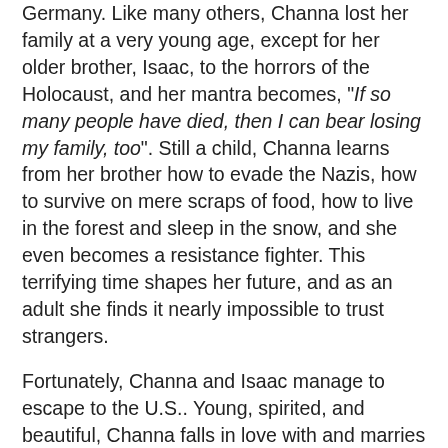Germany. Like many others, Channa lost her family at a very young age, except for her older brother, Isaac, to the horrors of the Holocaust, and her mantra becomes, "If so many people have died, then I can bear losing my family, too". Still a child, Channa learns from her brother how to evade the Nazis, how to survive on mere scraps of food, how to live in the forest and sleep in the snow, and she even becomes a resistance fighter. This terrifying time shapes her future, and as an adult she finds it nearly impossible to trust strangers.
Fortunately, Channa and Isaac manage to escape to the U.S.. Young, spirited, and beautiful, Channa falls in love with and marries Nathan Poltzer (who's tall, dark, and handsome), and seems to adjust easily to her new life. She has five children, including the narrator of the story, Jaclyn (the author has changed her name and those of family members in the book), and we discover quickly how the events of the Holocaust have affected and scarred her. Channa is married but very insecure, and worries that her attractive husband may leave her for another woman. Operating on a lack of trust, she surreptitiously hides money throughout the house and in safety deposit boxes at various banks, and insists her children not trust anyone other than